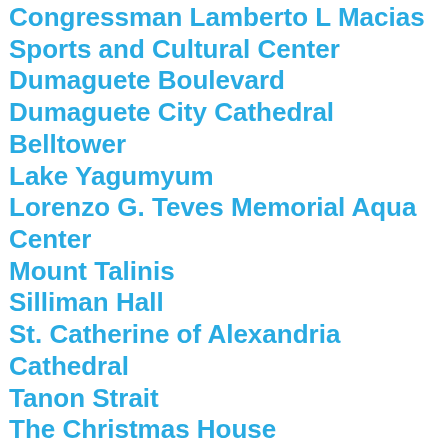Congressman Lamberto L Macias Sports and Cultural Center
Dumaguete Boulevard
Dumaguete City Cathedral Belltower
Lake Yagumyum
Lorenzo G. Teves Memorial Aqua Center
Mount Talinis
Silliman Hall
St. Catherine of Alexandria Cathedral
Tanon Strait
The Christmas House